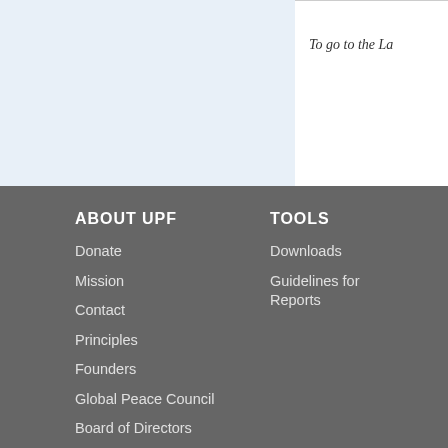[Figure (other): Light blue background panel occupying the top-left portion of the page]
To go to the La
ABOUT UPF
Donate
Mission
Contact
Principles
Founders
Global Peace Council
Board of Directors
TOOLS
Downloads
Guidelines for Reports